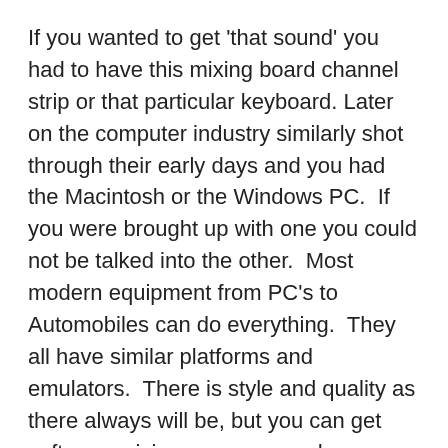If you wanted to get 'that sound' you had to have this mixing board channel strip or that particular keyboard. Later on the computer industry similarly shot through their early days and you had the Macintosh or the Windows PC.  If you were brought up with one you could not be talked into the other.  Most modern equipment from PC's to Automobiles can do everything.  They all have similar platforms and emulators.  There is style and quality as there always will be, but you can get software mixing programs and microphone/guitar emulator plugins that will make your audio tracks sound like anything you want — THEY CAN EVEN MAKE YOU SOUND LIKE YOU ARE SINGING IN TUNE!!
So if you like Pepsi, no problem.  Want Coke?  Press this button……  More comfortable using a Mac?  Go for it.